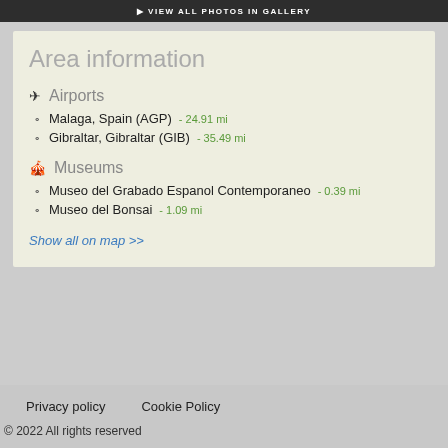VIEW ALL PHOTOS IN GALLERY
Area information
✈ Airports
Malaga, Spain (AGP)  - 24.91 mi
Gibraltar, Gibraltar (GIB)  - 35.49 mi
🎭 Museums
Museo del Grabado Espanol Contemporaneo  - 0.39 mi
Museo del Bonsai  - 1.09 mi
Show all on map >>
Privacy policy   Cookie Policy
© 2022 All rights reserved